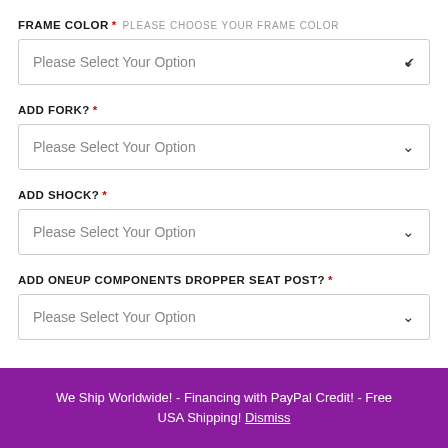FRAME COLOR * PLEASE CHOOSE YOUR FRAME COLOR
Please Select Your Option
ADD FORK? *
Please Select Your Option
ADD SHOCK? *
Please Select Your Option
ADD ONEUP COMPONENTS DROPPER SEAT POST? *
Please Select Your Option
We Ship Worldwide! - Financing with PayPal Credit! - Free USA Shipping! Dismiss